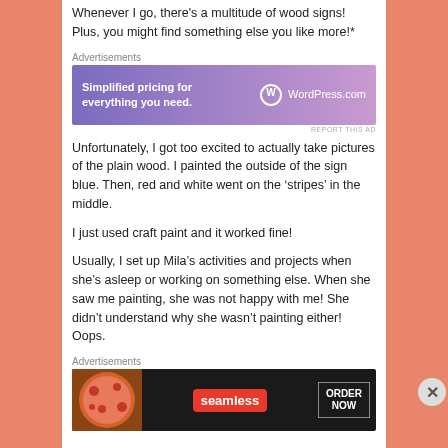Whenever I go, there's a multitude of wood signs! Plus, you might find something else you like more!*
Advertisements
[Figure (screenshot): WordPress.com advertisement banner: 'Simplified pricing for everything you need.' with WordPress.com logo on gradient purple background]
REPORT THIS AD
Unfortunately, I got too excited to actually take pictures of the plain wood. I painted the outside of the sign blue. Then, red and white went on the ‘stripes’ in the middle.
I just used craft paint and it worked fine!
Usually, I set up Mila’s activities and projects when she’s asleep or working on something else. When she saw me painting, she was not happy with me! She didn’t understand why she wasn’t painting either! Oops.
Advertisements
[Figure (screenshot): Seamless food delivery advertisement banner with pizza image, Seamless logo, and ORDER NOW button on dark background]